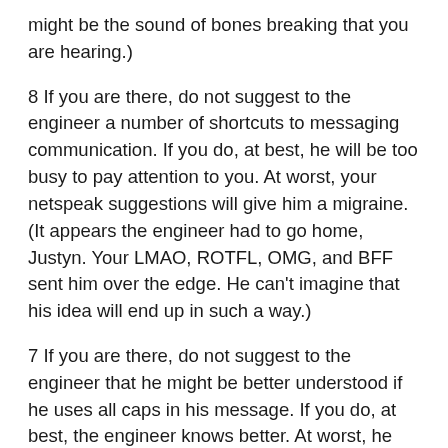might be the sound of bones breaking that you are hearing.)
8 If you are there, do not suggest to the engineer a number of shortcuts to messaging communication. If you do, at best, he will be too busy to pay attention to you. At worst, your netspeak suggestions will give him a migraine. (It appears the engineer had to go home, Justyn. Your LMAO, ROTFL, OMG, and BFF sent him over the edge. He can't imagine that his idea will end up in such a way.)
7 If you are there, do not suggest to the engineer that he might be better understood if he uses all caps in his message. If you do, at best, the engineer knows better. At worst, he will send a message that looks like he is yelling. (A funny thing about yelling at a director, Jacob is they usually don't like it. It looks like the engineer wants to talk